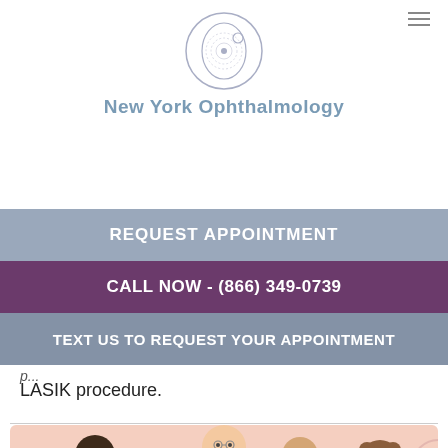[Figure (logo): New York Ophthalmology logo — circular eye illustration in outline style]
New York Ophthalmology
REQUEST APPOINTMENT
CALL NOW - (866) 349-0739
TEXT US TO REQUEST YOUR APPOINTMENT
LASIK procedure.
[Figure (illustration): Cartoon illustration of diverse group of people including figures with hijab, elderly person with glasses, and others on pink background]